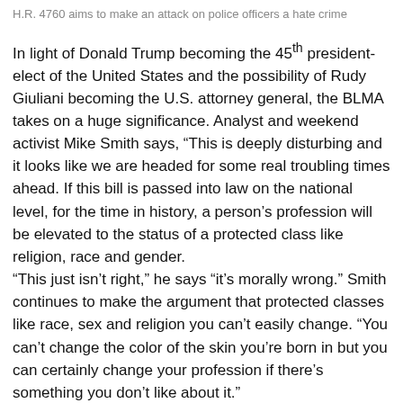H.R. 4760 aims to make an attack on police officers a hate crime
In light of Donald Trump becoming the 45th president-elect of the United States and the possibility of Rudy Giuliani becoming the U.S. attorney general, the BLMA takes on a huge significance. Analyst and weekend activist Mike Smith says, “This is deeply disturbing and it looks like we are headed for some real troubling times ahead. If this bill is passed into law on the national level, for the time in history, a person’s profession will be elevated to the status of a protected class like religion, race and gender. “This just isn’t right,” he says “it’s morally wrong.” Smith continues to make the argument that protected classes like race, sex and religion you can’t easily change. “You can’t change the color of the skin you’re born in but you can certainly change your profession if there’s something you don’t like about it.” Karen Sheley, director of Police Practices Projects for the ACLU says: “The title ‘blue lives matter’ appears to be an